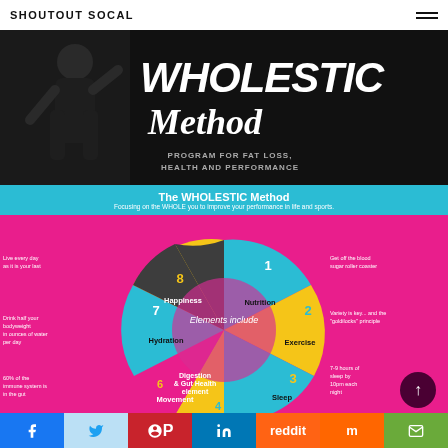SHOUTOUT SOCAL
[Figure (photo): Hero banner with woman in athletic wear and large text reading WHOLESTIC Method - Program for Fat Loss, Health and Performance on dark background]
WHOLESTIC Method
PROGRAM FOR FAT LOSS, HEALTH AND PERFORMANCE
The WHOLESTIC Method
Focusing on the WHOLE you to improve your performance in life and sports.
[Figure (infographic): Circular wheel infographic showing 8 elements: 1 Nutrition, 2 Exercise, 3 Sleep, 4 (partially visible), 6 Movement, 6 Digestion & Gut Health element, 7 Hydration, 8 Happiness. Center reads Elements include. Annotations: Get off the blood sugar roller coaster, Variety is key and the goldilocks principle, 7-9 hours of sleep by 10pm each night, 60% of the immune system is in the gut, Drink half your bodyweight in ounces of water per day, Live every day as it is your last.]
[Figure (infographic): Social sharing bar with Facebook, Twitter, Pinterest, LinkedIn, Reddit, Mix, and Email icons in colored blocks]